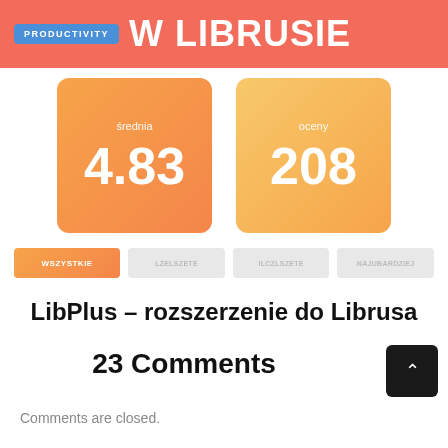W LIBRUSIE
[Figure (infographic): Two stat cards: średnia 4.83 and oceny 208, orange gradient background]
[Figure (infographic): Tab row with WSZYSTKIE active tab and three inactive tabs]
LibPlus – rozszerzenie do Librusa
23 Comments
Comments are closed.